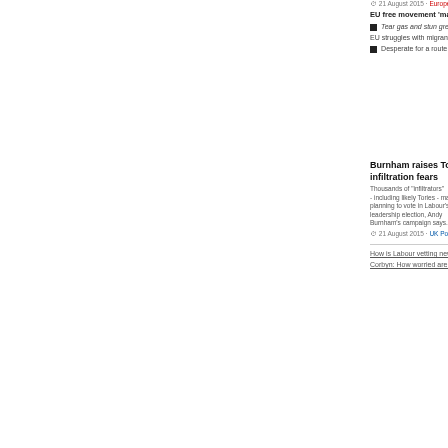[Figure (screenshot): BBC News website screenshot showing multiple news articles from 21 August 2015, partially obscured by a cookie consent overlay]
EU free movement 'may be in danger'
Tear gas and stun grenades
EU struggles with migrants and asylum
Desperate for a route into the EU
Burnham raises Tory infiltration fears
IS destroys monastery in Syria town
No apology from bin lorry driver
Migrant on track halts Channel train
Syriza rebels form new Greek party
Like every other website we use cookies. By using our site you acknowledge that you have read and understand our Cookie Policy, Privacy Policy, and our Terms of Service.
Learn more
Ask me later
Decline
Allow cookies